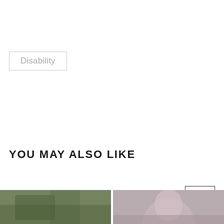Disability
YOU MAY ALSO LIKE
[Figure (other): Navigation arrow button pointing right]
[Figure (photo): Two partial thumbnail photos at bottom of page — left showing outdoor greenery scene, right showing a person with light purple/grey hair]